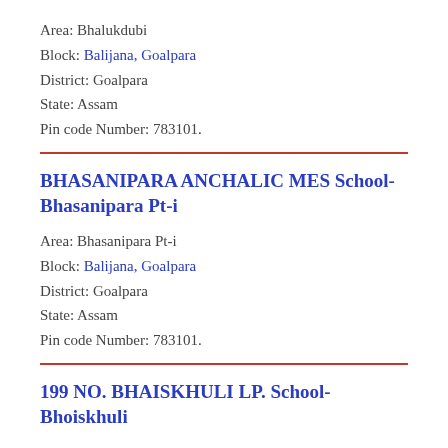Area: Bhalukdubi
Block: Balijana, Goalpara
District: Goalpara
State: Assam
Pin code Number: 783101.
BHASANIPARA ANCHALIC MES School- Bhasanipara Pt-i
Area: Bhasanipara Pt-i
Block: Balijana, Goalpara
District: Goalpara
State: Assam
Pin code Number: 783101.
199 NO. BHAISKHULI LP. School- Bhoiskhuli